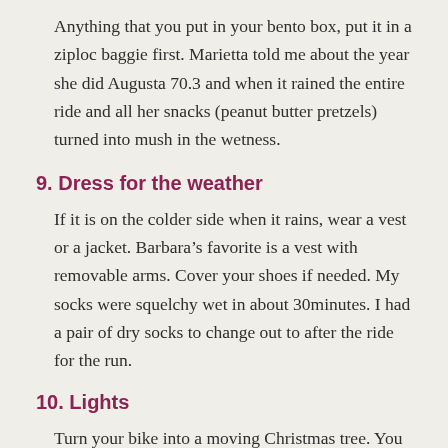Anything that you put in your bento box, put it in a ziploc baggie first. Marietta told me about the year she did Augusta 70.3 and when it rained the entire ride and all her snacks (peanut butter pretzels) turned into mush in the wetness.
9. Dress for the weather
If it is on the colder side when it rains, wear a vest or a jacket. Barbara’s favorite is a vest with removable arms. Cover your shoes if needed. My socks were squelchy wet in about 30minutes. I had a pair of dry socks to change out to after the ride for the run.
10. Lights
Turn your bike into a moving Christmas tree. You need to make extra sure that everyone notices